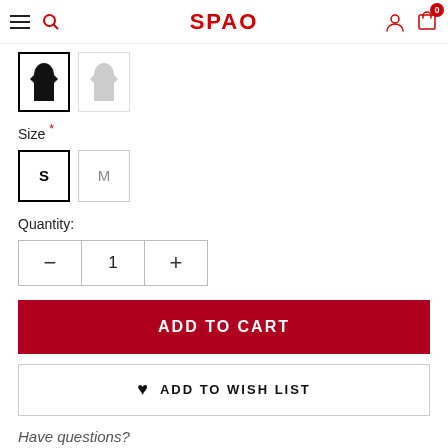SPAO
[Figure (screenshot): Color swatch row with two coat silhouette icons — one black (selected, bordered) and one light gray (unselected)]
Size *
[Figure (screenshot): Size selector row with S (selected, black border) and M (unselected, light border)]
Quantity:
[Figure (screenshot): Quantity stepper with minus button, value 1, and plus button]
ADD TO CART
♥ ADD TO WISH LIST
Have questions?
Message Us